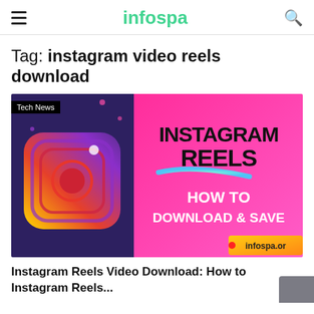infospa
Tag: instagram video reels download
[Figure (screenshot): Article thumbnail image for Instagram Reels post. Left half shows dark purple/blue background with the Instagram gradient camera icon. Right half is bright pink/magenta with bold black text 'INSTAGRAM REELS' and white text 'HOW TO DOWNLOAD & SAVE', with a teal swoosh underline and 'infospa.or' watermark at bottom right. A 'Tech News' badge appears top left corner.]
Instagram Reels Video Download: How to Instagram Reels...